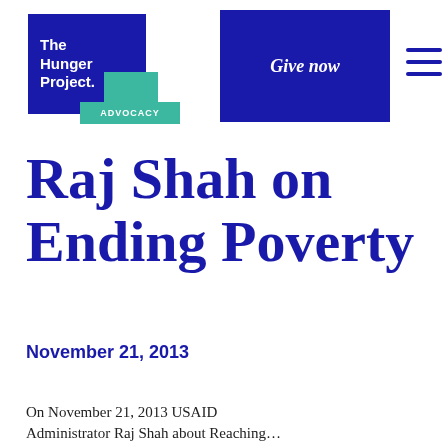[Figure (logo): The Hunger Project Advocacy logo — dark blue square with white bold text 'The Hunger Project.' overlapping a teal accent block, with teal 'ADVOCACY' label below]
[Figure (other): Dark blue 'Give now' button rectangle]
[Figure (other): Hamburger menu icon — three horizontal dark blue lines]
Raj Shah on Ending Poverty
November 21, 2013
On November 21, 2013 USAID Administrator Raj Shah about Reaching…